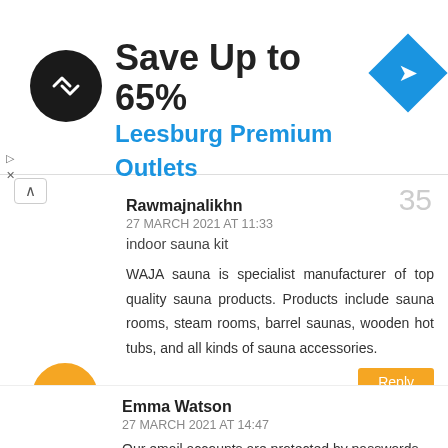[Figure (infographic): Advertisement banner: black circle logo with double arrow symbol, text 'Save Up to 65%' in bold black and 'Leesburg Premium Outlets' in blue, blue diamond navigation icon on right]
Rawmajnalikhn
27 MARCH 2021 AT 11:33
indoor sauna kit

WAJA sauna is specialist manufacturer of top quality sauna products. Products include sauna rooms, steam rooms, barrel saunas, wooden hot tubs, and all kinds of sauna accessories.
35
Reply
Emma Watson
27 MARCH 2021 AT 14:47
Our email accounts are protected by passwords
36